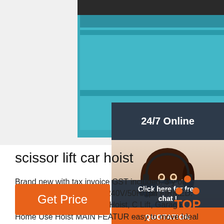[Figure (photo): Close-up photo of a teal/blue scissor lift car hoist with black metal components]
[Figure (photo): 24/7 Online customer support representative - woman with headset and dark hair, smiling, with dark blue/slate background panel showing '24/7 Online' text and 'Click here for free chat!' and 'QUOTATION' button]
scissor lift car hoist
Brand new with tax invoice GST included. 3 y on parts. Worksafe approve. 240V/50H/1ph FIRMED. Portable Mid-Rise Scissor Hoist, C Lift, Garage Home Use Hoist MAIN FEATUR easy to move Ideal choice to home and tyre shop use (Australia standard, verified by experienced Australia engineer, Worksafe Approved) SPECIFICATION: ...
[Figure (logo): TOP logo with orange dots arranged in triangle shape above orange text 'TOP']
Get Price